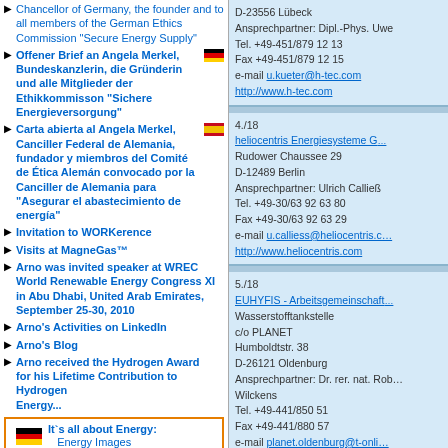Chancellor of Germany, the founder and to all members of the German Ethics Commission "Secure Energy Supply"
Offener Brief an Angela Merkel, Bundeskanzlerin, die Gründerin und alle Mitglieder der Ethikkommisson "Sichere Energieversorgung"
Carta abierta al Angela Merkel, Canciller Federal de Alemania, fundador y miembros del Comité de Ética Alemán convocado por la Canciller de Alemania para "Asegurar el abastecimiento de energía"
Invitation to WORKerence
Visits at MagneGas™
Arno was invited speaker at WREC World Renewable Energy Congress XI in Abu Dhabi, United Arab Emirates, September 25-30, 2010
Arno's Activities on LinkedIn
Arno's Blog
Arno received the Hydrogen Award for his Lifetime Contribution to Hydrogen Energy...
It's all about Energy: Energy Images
Objective and unbiased Information Graphics
1. Energy Balances
1.1. World Energy Balances
D-23556 Lübeck
Ansprechpartner: Dipl.-Phys. Uwe...
Tel. +49-451/879 12 13
Fax +49-451/879 12 15
e-mail u.kueter@h-tec.com
http://www.h-tec.com
4./18
heliocentris Energiesysteme G...
Rudower Chaussee 29
D-12489 Berlin
Ansprechpartner: Ulrich Calließ
Tel. +49-30/63 92 63 80
Fax +49-30/63 92 63 29
e-mail u.calliess@heliocentris.c...
http://www.heliocentris.com
5./18
EUHYFIS - Arbeitsgemeinschaft...
Wasserstofftankstelle
c/o PLANET
Humboldtstr. 38
D-26121 Oldenburg
Ansprechpartner: Dr. rer. nat. Rob... Wilckens
Tel. +49-441/850 51
Fax +49-441/880 57
e-mail planet.oldenburg@t-onli...
http://www.planungsgesch...